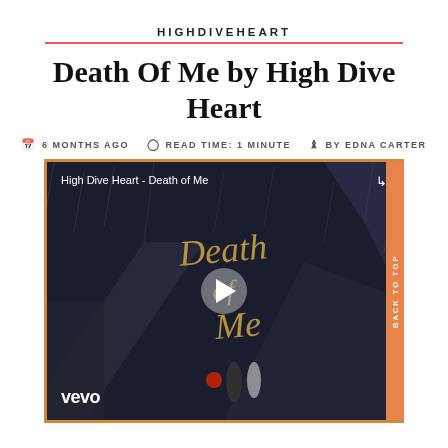HIGHDIVEHEART
Death Of Me by High Dive Heart
6 MONTHS AGO  READ TIME: 1 MINUTE  BY EDNA CARTER
[Figure (screenshot): YouTube/Vevo embedded video thumbnail for 'High Dive Heart - Death of Me'. Dark cinematic scene with golden calligraphic text reading 'Death of Me' overlaid. Play button in center. Vevo logo bottom-left. Share icon top-right.]